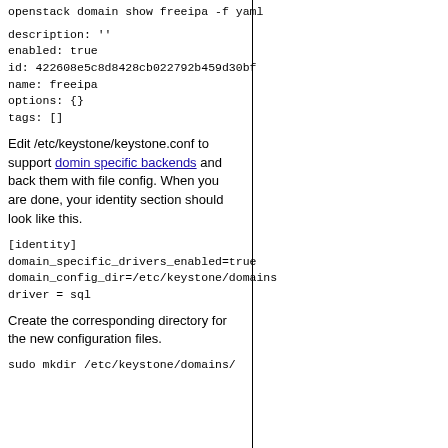openstack domain show freeipa -f yaml
description: ''
enabled: true
id: 422608e5c8d8428cb022792b459d30bf
name: freeipa
options: {}
tags: []
Edit /etc/keystone/keystone.conf to support domin specific backends and back them with file config. When you are done, your identity section should look like this.
[identity]
domain_specific_drivers_enabled=true
domain_config_dir=/etc/keystone/domains
driver = sql
Create the corresponding directory for the new configuration files.
sudo mkdir /etc/keystone/domains/